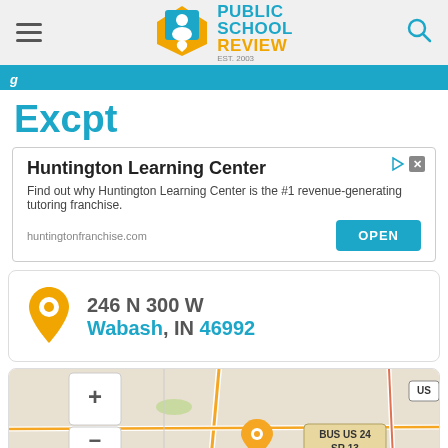Public School Review EST. 2003
Excpt
Huntington Learning Center
Find out why Huntington Learning Center is the #1 revenue-generating tutoring franchise.
huntingtonfranchise.com
246 N 300 W
Wabash, IN 46992
[Figure (map): Street map showing location marker near BUS US 24, SR 13 in Wabash, Indiana area, with zoom controls (+/-) and fullscreen button on left side.]